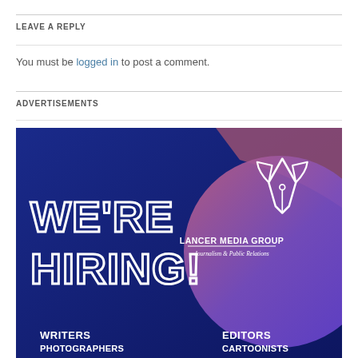LEAVE A REPLY
You must be logged in to post a comment.
ADVERTISEMENTS
[Figure (illustration): Lancer Media Group hiring advertisement. Blue gradient background with large outlined text reading WE'RE HIRING! and a circular purple/pink gradient with a pen nib logo. LANCER MEDIA GROUP Journalism & Public Relations. Bottom shows WRITERS, PHOTOGRAPHERS, EDITORS, CARTOONISTS.]